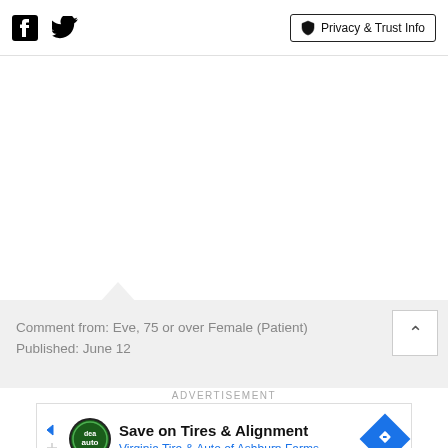[Facebook icon] [Twitter icon] Privacy & Trust Info
Comment from: Eve, 75 or over Female (Patient)
Published: June 12
ADVERTISEMENT
[Figure (other): Advertisement banner: Save on Tires & Alignment - Virginia Tire & Auto of Ashburn Farms]